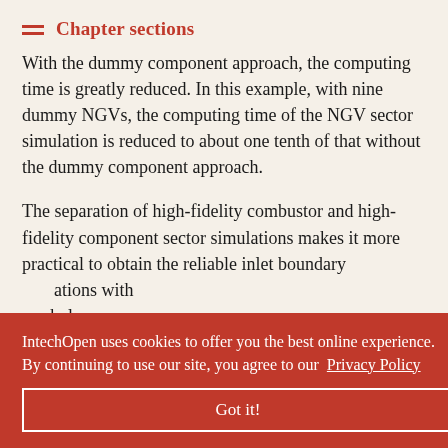Chapter sections
With the dummy component approach, the computing time is greatly reduced. In this example, with nine dummy NGVs, the computing time of the NGV sector simulation is reduced to about one tenth of that without the dummy component approach.
The separation of high-fidelity combustor and high-fidelity component sector simulations makes it more practical to obtain the reliable inlet boundary [conditions with] [orkplace] [ory size are] limited.
IntechOpen uses cookies to offer you the best online experience. By continuing to use our site, you agree to our Privacy Policy
Got it!